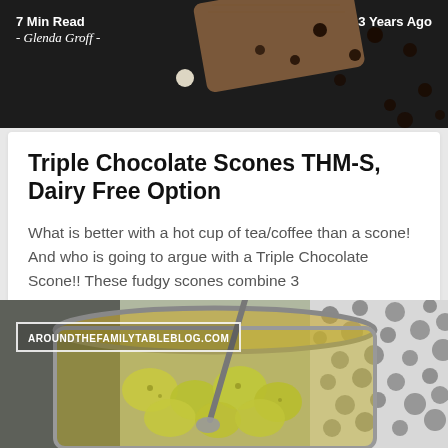[Figure (photo): Dark background food blog header image showing chocolate chips and a wooden cutting board with text overlays]
7 Min Read - Glenda Groff -
3 Years Ago
Triple Chocolate Scones THM-S, Dairy Free Option
What is better with a hot cup of tea/coffee than a scone! And who is going to argue with a Triple Chocolate Scone!! These fudgy scones combine 3
[Figure (photo): Close-up photo of a jar of yellow/green pickles with a spoon, with AROUNDTHEFAMILYTABLEBLOG.COM watermark]